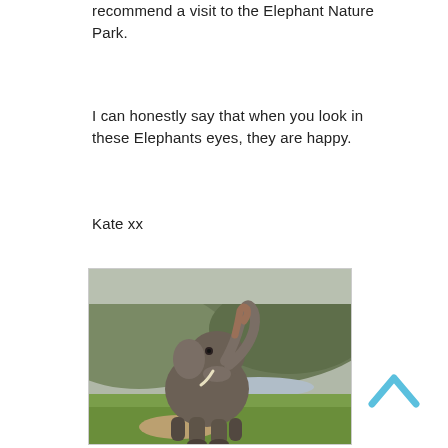recommend a visit to the Elephant Nature Park.
I can honestly say that when you look in these Elephants eyes, they are happy.
Kate xx
[Figure (photo): An elephant standing outdoors with its trunk raised, in front of a green hillside and grassy field.]